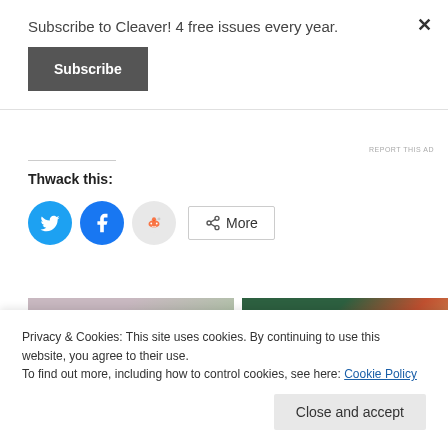Subscribe to Cleaver! 4 free issues every year.
Subscribe
×
REPORT THIS AD
Thwack this:
[Figure (infographic): Social share buttons: Twitter (blue circle), Facebook (blue circle), Reddit (light grey circle), and a More button with share icon]
[Figure (photo): Two related article thumbnail images side by side]
October 21, 2018
December 10, 2016
Privacy & Cookies: This site uses cookies. By continuing to use this website, you agree to their use.
To find out more, including how to control cookies, see here: Cookie Policy
Close and accept